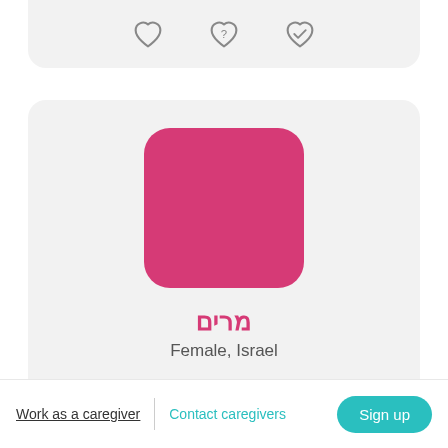[Figure (screenshot): Top partial card with three heart icons: plain heart, heart with question mark, heart with checkmark]
[Figure (photo): Profile card for מרים (Miriam), Female, Israel, with pink square avatar placeholder]
Job types: Live In, Reliever, Weekend, Night
Preferred city: Tel Aviv-Yafo
Experience: 12 years
View Profile    Updated 21.09.2022
Work as a caregiver  |  Contact caregivers  Sign up